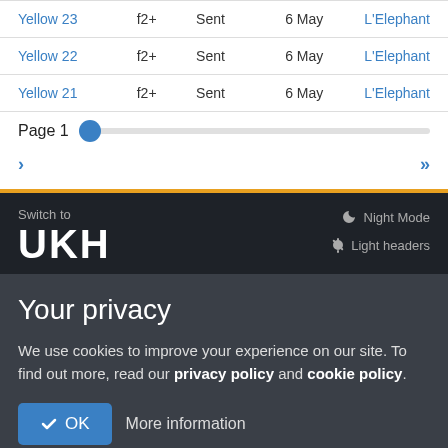| Yellow 23 | f2+ | Sent | 6 May | L'Elephant |
| Yellow 22 | f2+ | Sent | 6 May | L'Elephant |
| Yellow 21 | f2+ | Sent | 6 May | L'Elephant |
Page 1
> >>
Switch to
UKH
Night Mode
Light headers
Your privacy
We use cookies to improve your experience on our site. To find out more, read our privacy policy and cookie policy.
✓ OK  More information